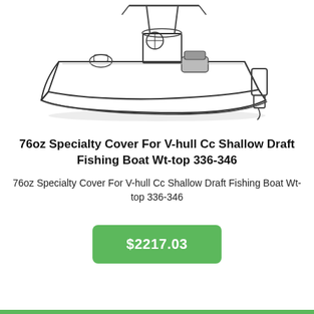[Figure (illustration): Line drawing illustration of a V-hull center console shallow draft fishing boat with outboard motor, steering wheel, and seating, viewed from a three-quarter perspective.]
76oz Specialty Cover For V-hull Cc Shallow Draft Fishing Boat Wt-top 336-346
76oz Specialty Cover For V-hull Cc Shallow Draft Fishing Boat Wt-top 336-346
$2217.03